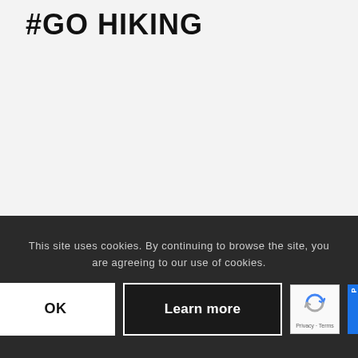#GO HIKING
This site uses cookies. By continuing to browse the site, you are agreeing to our use of cookies.
OK
Learn more